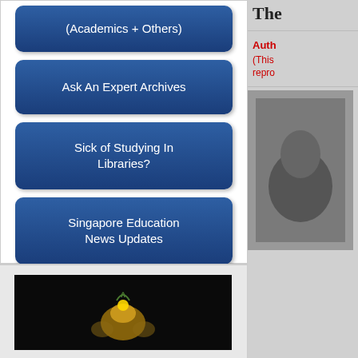(Academics + Others)
Ask An Expert Archives
Sick of Studying In Libraries?
Singapore Education News Updates
Train, Bus And Traffic Updates
Blogging About Singapore Education
The
Auth
(This repro
[Figure (photo): Dark background photo with gold decorative object, partially visible at bottom of page]